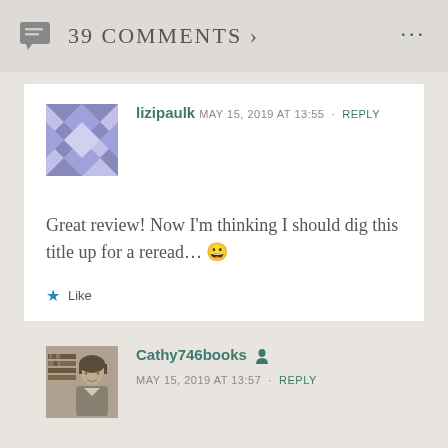39 Comments ›
lizipaulk
MAY 15, 2019 AT 13:55 · REPLY
Great review! Now I'm thinking I should dig this title up for a reread… 😀
Like
Cathy746books
MAY 15, 2019 AT 13:57 · REPLY